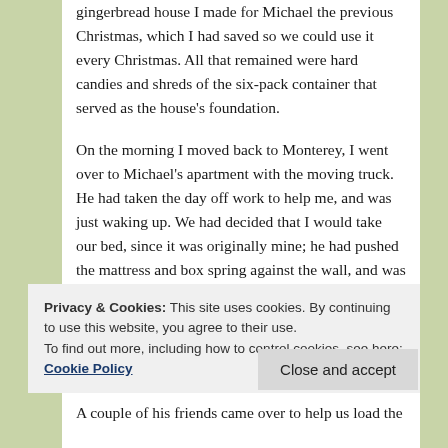gingerbread house I made for Michael the previous Christmas, which I had saved so we could use it every Christmas. All that remained were hard candies and shreds of the six-pack container that served as the house's foundation.
On the morning I moved back to Monterey, I went over to Michael's apartment with the moving truck. He had taken the day off work to help me, and was just waking up. We had decided that I would take our bed, since it was originally mine; he had pushed the mattress and box spring against the wall, and was lying in a sleeping bag on the floor beneath them.
Privacy & Cookies: This site uses cookies. By continuing to use this website, you agree to their use.
To find out more, including how to control cookies, see here: Cookie Policy
A couple of his friends came over to help us load the